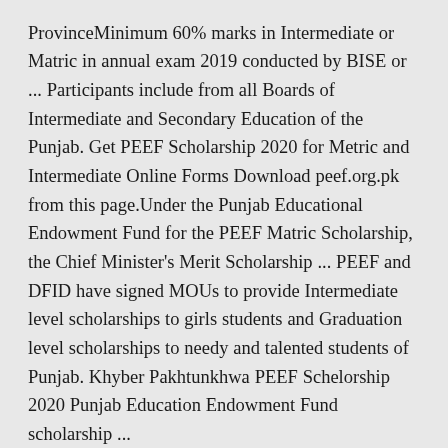ProvinceMinimum 60% marks in Intermediate or Matric in annual exam 2019 conducted by BISE or ... Participants include from all Boards of Intermediate and Secondary Education of the Punjab. Get PEEF Scholarship 2020 for Metric and Intermediate Online Forms Download peef.org.pk from this page.Under the Punjab Educational Endowment Fund for the PEEF Matric Scholarship, the Chief Minister's Merit Scholarship ... PEEF and DFID have signed MOUs to provide Intermediate level scholarships to girls students and Graduation level scholarships to needy and talented students of Punjab. Khyber Pakhtunkhwa PEEF Schelorship 2020 Punjab Education Endowment Fund scholarship ...